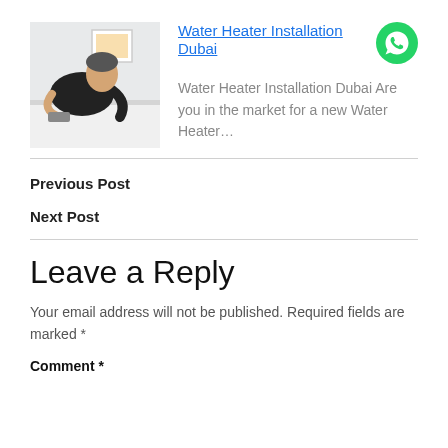[Figure (photo): A man in a black shirt leaning over a white surface, working, with a framed picture on the wall behind him. Background is light/white.]
Water Heater Installation Dubai
[Figure (logo): WhatsApp green logo icon]
Water Heater Installation Dubai Are you in the market for a new Water Heater…
Previous Post
Next Post
Leave a Reply
Your email address will not be published. Required fields are marked *
Comment *